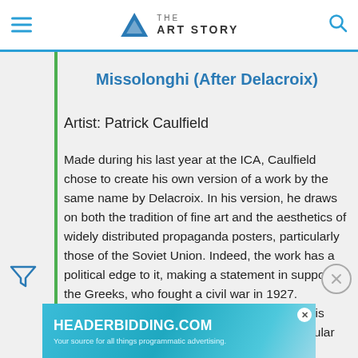THE ART STORY
Missolonghi (After Delacroix)
Artist: Patrick Caulfield
Made during his last year at the ICA, Caulfield chose to create his own version of a work by the same name by Delacroix. In his version, he draws on both the tradition of fine art and the aesthetics of widely distributed propaganda posters, particularly those of the Soviet Union. Indeed, the work has a political edge to it, making a statement in support of the Greeks, who fought a civil war in 1927. Caulfield uses the historical event to convey his message of the importance of freedom, a popular idea in the 1960s and
[Figure (screenshot): HEADERBIDDING.COM advertisement banner — Your source for all things programmatic advertising.]